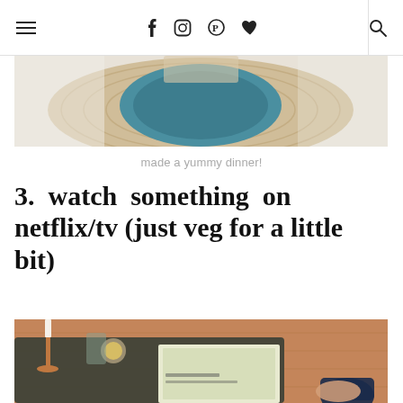≡  f  ○  ℗  ♥  |  🔍
[Figure (photo): Overhead view of a teal plate on a woven placemat, dinner setting from above]
made a yummy dinner!
3.  watch  something  on netflix/tv (just veg for a little bit)
[Figure (photo): Overhead view of a cozy scene on a dark mat/rug with candles, copper candlesticks, a magazine, and a hand holding a dark mug]